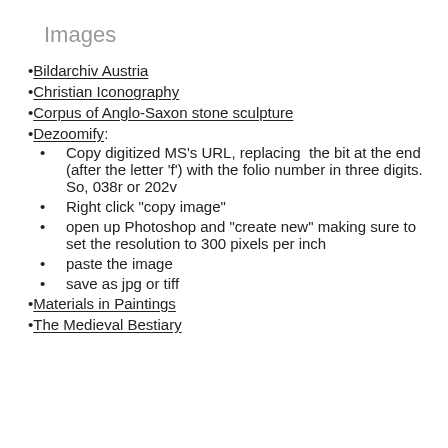Images
Bildarchiv Austria
Christian Iconography
Corpus of Anglo-Saxon stone sculpture
Dezoomify:
Copy digitized MS’s URL, replacing  the bit at the end (after the letter ‘f’) with the folio number in three digits. So, 038r or 202v
Right click “copy image”
open up Photoshop and “create new” making sure to set the resolution to 300 pixels per inch
paste the image
save as jpg or tiff
Materials in Paintings
The Medieval Bestiary